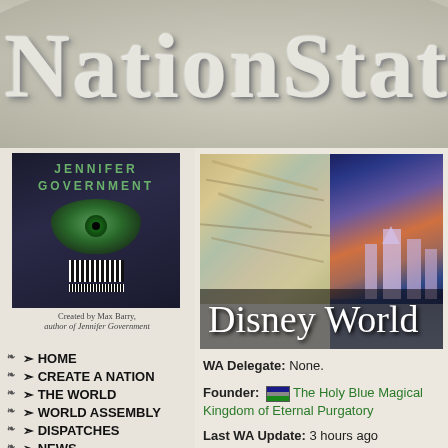NationStates
[Figure (screenshot): NationStates website header with globe background and large serif title text 'NationStates']
[Figure (illustration): Jennifer Government book cover with green eye and barcode, created by Max Barry]
Created by Max Barry, author of Jennifer Government
HOME
CREATE A NATION
THE WORLD
WORLD ASSEMBLY
DISPATCHES
NEWS
FAQ
ABOUT
FORUM
[Figure (photo): Disney World region banner showing sandy texture on left and Disney castle at dusk on right, with 'Disney World' text overlay]
WA Delegate: None.
Founder: The Holy Blue Magical Kingdom of Eternal Purgatory
Last WA Update: 3 hours ago
World Factbook Entry
Puppet Storage for The Region That Has No Big Banks.